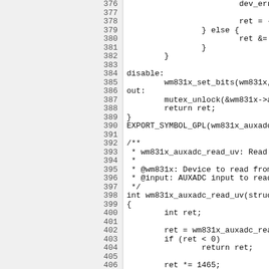[Figure (screenshot): Source code listing showing lines 376-406 of a C source file implementing wm831x auxadc read functions, with line numbers on the left and code on the right in monospace font.]